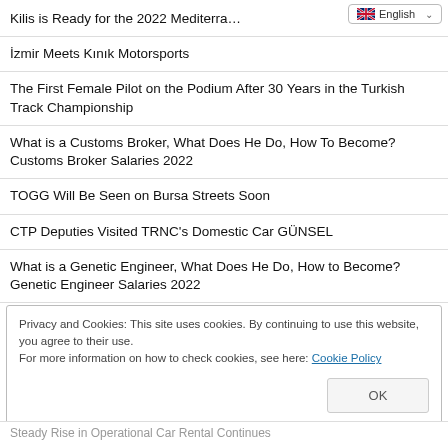Kilis is Ready for the 2022 Mediterranean…
İzmir Meets Kınık Motorsports
The First Female Pilot on the Podium After 30 Years in the Turkish Track Championship
What is a Customs Broker, What Does He Do, How To Become? Customs Broker Salaries 2022
TOGG Will Be Seen on Bursa Streets Soon
CTP Deputies Visited TRNC's Domestic Car GÜNSEL
What is a Genetic Engineer, What Does He Do, How to Become? Genetic Engineer Salaries 2022
Privacy and Cookies: This site uses cookies. By continuing to use this website, you agree to their use.
For more information on how to check cookies, see here: Cookie Policy
Steady Rise in Operational Car Rental Continues